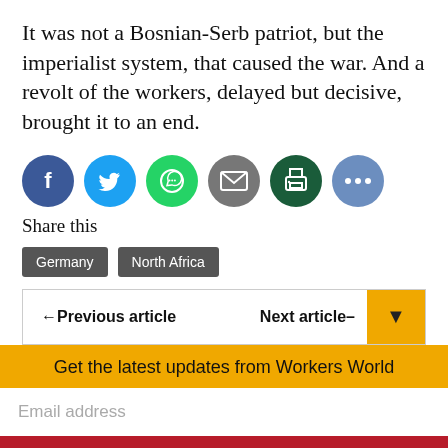It was not a Bosnian-Serb patriot, but the imperialist system, that caused the war. And a revolt of the workers, delayed but decisive, brought it to an end.
[Figure (infographic): Row of six social share icon circles: Facebook (blue), Twitter (light blue), WhatsApp (green), Email (grey), Print (dark green), More/ellipsis (blue-grey)]
Share this
Germany
North Africa
← Previous article     Next article →
Get the latest updates from Workers World
Email address
Subscribe